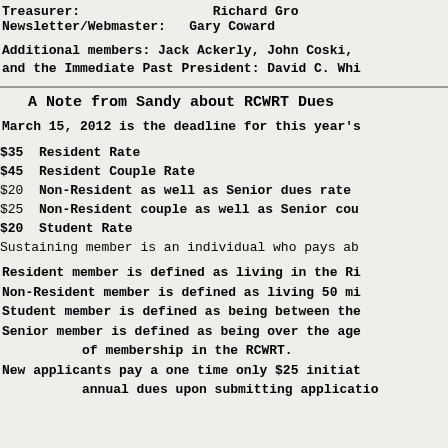Treasurer:          Richard Gro
Newsletter/Webmaster:  Gary Coward
Additional members: Jack Ackerly, John Coski,
and the Immediate Past President: David C. Whi
A Note from Sandy about RCWRT Dues
March 15, 2012 is the deadline for this year's
$35  Resident Rate
$45  Resident Couple Rate
$20  Non-Resident as well as Senior dues rate
$25  Non-Resident couple as well as Senior cou
$20  Student Rate
Sustaining member is an individual who pays ab
Resident member is defined as living in the Ri
Non-Resident member is defined as living 50 mi
Student member is defined as being between the
Senior member is defined as being over the age
        of membership in the RCWRT.
New applicants pay a one time only $25 initiat
        annual dues upon submitting applicatio